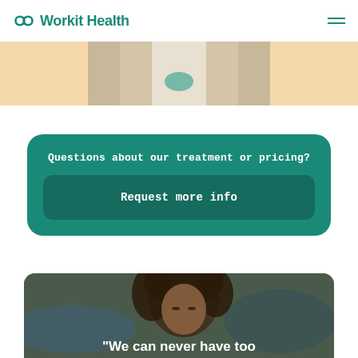Workit Health
[Figure (photo): Partial photo of a medical professional in white coat with teal accents, with peach/cream colored side panels]
Questions about our treatment or pricing?
Request more info
[Figure (photo): Photo of a woman with dark curly hair, blurred outdoor background, with overlaid text beginning: "We can never have too]